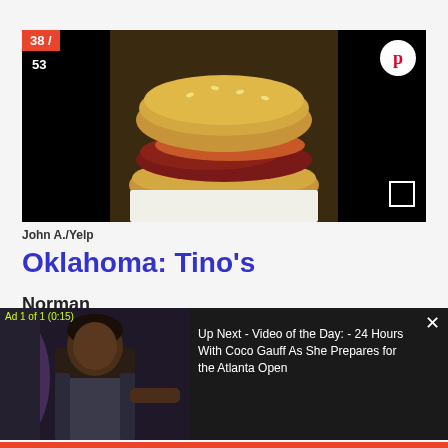[Figure (photo): Photo of a deli sandwich/hoagie with meats and onions on a sesame roll, shown on white paper. Black background surrounds the centered food photo. Counter label shows 38/53. Pinterest share button top right. Expand icon bottom right.]
John A./Yelp
Oklahoma: Tino's
Norman
[Figure (screenshot): Video ad overlay showing a person standing in a dark room. Ad label reads 'Ad 1 of 1 (0:15)'. Text reads: Up Next - Video of the Day: - 24 Hours With Coco Gauff As She Prepares for the Atlanta Open. Close button X at top right.]